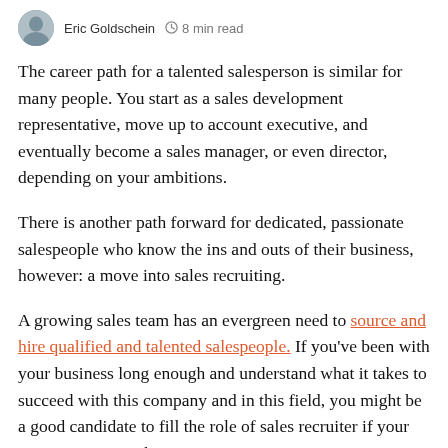Eric Goldschein · 8 min read
The career path for a talented salesperson is similar for many people. You start as a sales development representative, move up to account executive, and eventually become a sales manager, or even director, depending on your ambitions.
There is another path forward for dedicated, passionate salespeople who know the ins and outs of their business, however: a move into sales recruiting.
A growing sales team has an evergreen need to source and hire qualified and talented salespeople. If you've been with your business long enough and understand what it takes to succeed with this company and in this field, you might be a good candidate to fill the role of sales recruiter if your company creates that position.